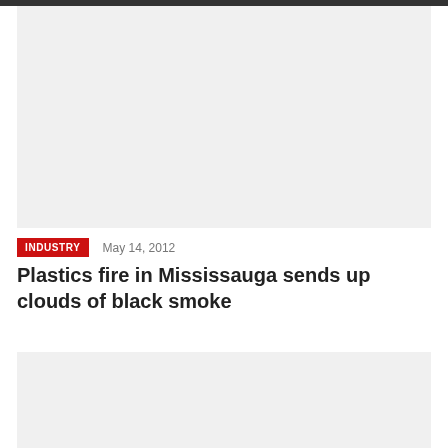[Figure (photo): Large image placeholder at top of article, light grey background]
INDUSTRY
May 14, 2012
Plastics fire in Mississauga sends up clouds of black smoke
[Figure (photo): Second image placeholder below article title, light grey background]